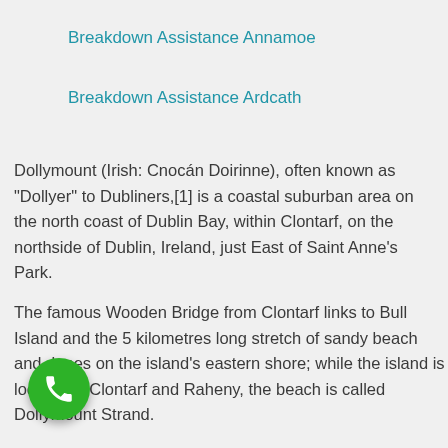Breakdown Assistance Annamoe
Breakdown Assistance Ardcath
Dollymount (Irish: Cnocán Doirinne), often known as "Dollyer" to Dubliners,[1] is a coastal suburban area on the north coast of Dublin Bay, within Clontarf, on the northside of Dublin, Ireland, just East of Saint Anne's Park.
The famous Wooden Bridge from Clontarf links to Bull Island and the 5 kilometres long stretch of sandy beach and dunes on the island's eastern shore; while the island is located in Clontarf and Raheny, the beach is called Dollymount Strand.
[Figure (other): Green circular phone/call button with white telephone handset icon]